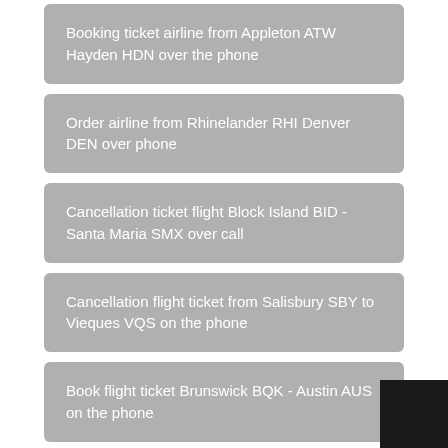Booking ticket airline from Appleton ATW Hayden HDN over the phone
Order airline from Rhinelander RHI Denver DEN over phone
Cancellation ticket flight Block Island BID - Santa Maria SMX over call
Cancellation flight ticket from Salisbury SBY to Vieques VQS on the phone
Book flight ticket Brunswick BQK - Austin AUS on the phone
Changing airline from Panama City Beach EC